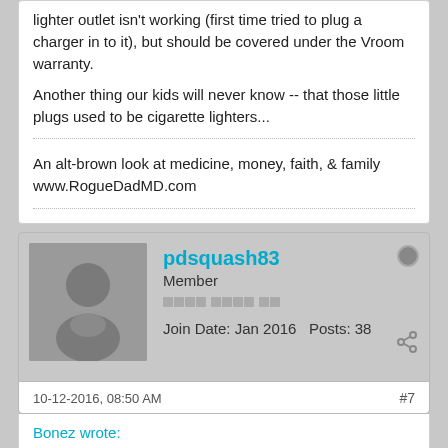lighter outlet isn't working (first time tried to plug a charger in to it), but should be covered under the Vroom warranty.
Another thing our kids will never know -- that those little plugs used to be cigarette lighters...
An alt-brown look at medicine, money, faith, & family
www.RogueDadMD.com
pdsquash83
Member
Join Date: Jan 2016   Posts: 38
10-12-2016, 08:50 AM
#7
Bonez wrote:
I bought a 2009 Subaru Outback about a year ago. First